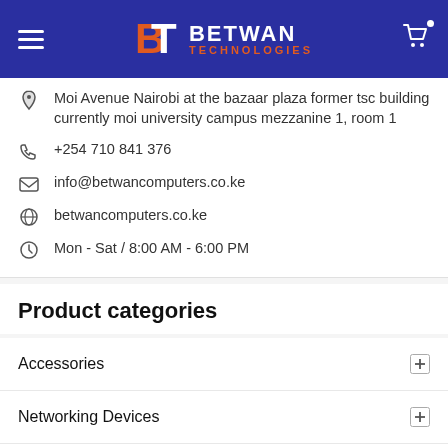Betwan Technologies
Moi Avenue Nairobi at the bazaar plaza former tsc building currently moi university campus mezzanine 1, room 1
+254 710 841 376
info@betwancomputers.co.ke
betwancomputers.co.ke
Mon - Sat / 8:00 AM - 6:00 PM
Product categories
Accessories
Networking Devices
Phones & Tablets
STORAGE
Printers & Scanners